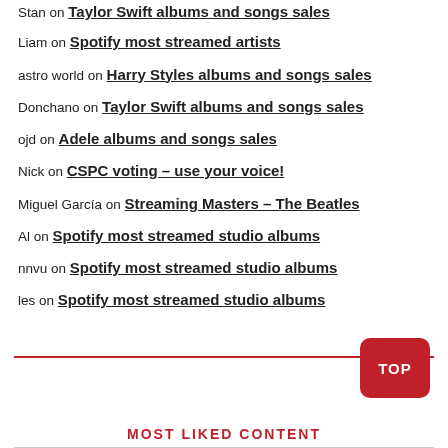Stan on Taylor Swift albums and songs sales
Liam on Spotify most streamed artists
astro world on Harry Styles albums and songs sales
Donchano on Taylor Swift albums and songs sales
ojd on Adele albums and songs sales
Nick on CSPC voting – use your voice!
Miguel García on Streaming Masters – The Beatles
Al on Spotify most streamed studio albums
nnvu on Spotify most streamed studio albums
les on Spotify most streamed studio albums
MOST LIKED CONTENT